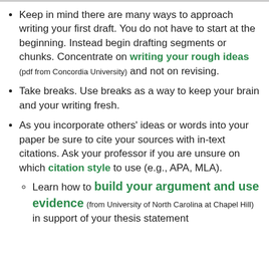Keep in mind there are many ways to approach writing your first draft. You do not have to start at the beginning. Instead begin drafting segments or chunks. Concentrate on writing your rough ideas (pdf from Concordia University) and not on revising.
Take breaks. Use breaks as a way to keep your brain and your writing fresh.
As you incorporate others' ideas or words into your paper be sure to cite your sources with in-text citations. Ask your professor if you are unsure on which citation style to use (e.g., APA, MLA).
Learn how to build your argument and use evidence (from University of North Carolina at Chapel Hill) in support of your thesis statement